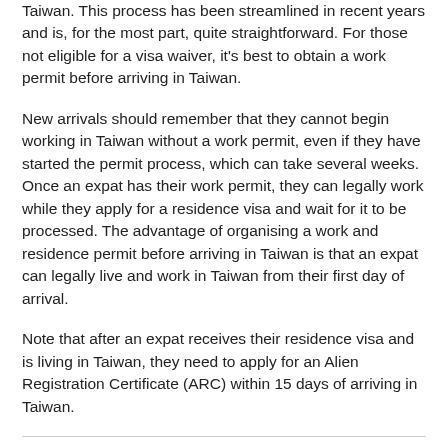Taiwan. This process has been streamlined in recent years and is, for the most part, quite straightforward. For those not eligible for a visa waiver, it's best to obtain a work permit before arriving in Taiwan.
New arrivals should remember that they cannot begin working in Taiwan without a work permit, even if they have started the permit process, which can take several weeks. Once an expat has their work permit, they can legally work while they apply for a residence visa and wait for it to be processed. The advantage of organising a work and residence permit before arriving in Taiwan is that an expat can legally live and work in Taiwan from their first day of arrival.
Note that after an expat receives their residence visa and is living in Taiwan, they need to apply for an Alien Registration Certificate (ARC) within 15 days of arriving in Taiwan.
Alien Resident Certificates in Taiwan